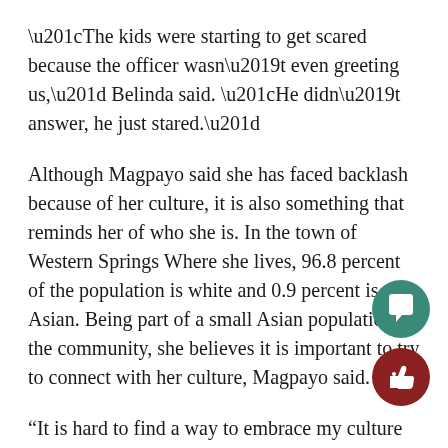“The kids were starting to get scared because the officer wasn’t even greeting us,” Belinda said. “He didn’t answer, he just stared.”
Although Magpayo said she has faced backlash because of her culture, it is also something that reminds her of who she is. In the town of Western Springs Where she lives, 96.8 percent of the population is white and 0.9 percent is Asian. Being part of a small Asian population in the community, she believes it is important to try to connect with her culture, Magpayo said.
“It is hard to find a way to embrace my culture and identity,” Magpayo said. “Having Fillipino food is one thing that connects us all together.”
Benilda has learned a lot through listening to her daughter’s podcast. When she immigrated here, she